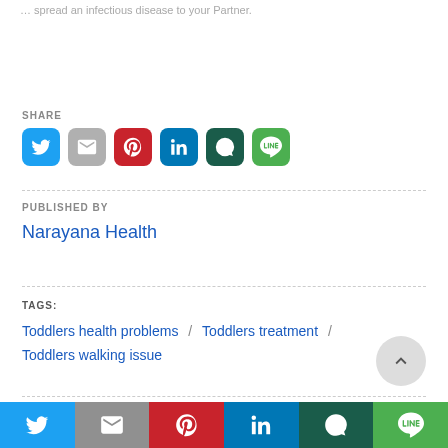… spread an infectious disease to your Partner.
SHARE
[Figure (infographic): Row of 6 social share icon buttons: Twitter (blue), Gmail (grey), Pinterest (red), LinkedIn (blue), WhatsApp (dark green), LINE (green)]
PUBLISHED BY
Narayana Health
TAGS:
Toddlers health problems / Toddlers treatment / Toddlers walking issue
[Figure (infographic): Bottom navigation bar with 6 social share icons: Twitter, Gmail, Pinterest, LinkedIn, WhatsApp, LINE]